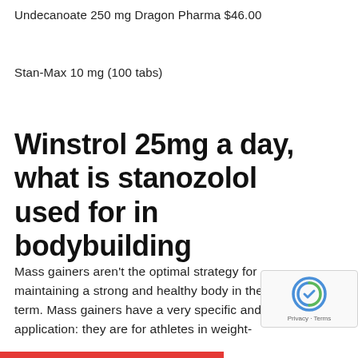Undecanoate 250 mg Dragon Pharma $46.00
Stan-Max 10 mg (100 tabs)
Winstrol 25mg a day, what is stanozolol used for in bodybuilding
Mass gainers aren't the optimal strategy for maintaining a strong and healthy body in the long-term. Mass gainers have a very specific and narrow application: they are for athletes in weight-